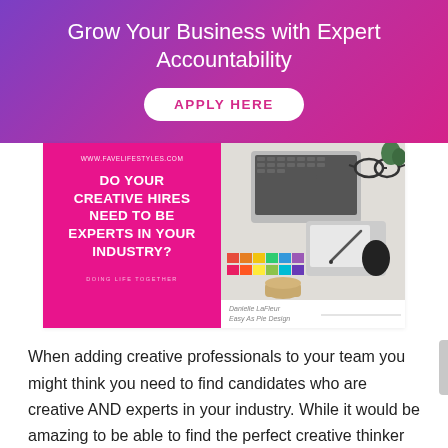Grow Your Business with Expert Accountability
APPLY HERE
[Figure (infographic): Composite image: left half is a magenta/pink panel with white bold text reading 'DO YOUR CREATIVE HIRES NEED TO BE EXPERTS IN YOUR INDUSTRY?' with website URL www.favelifestyles.com and tagline 'DOING LIFE TOGETHER'. Right half shows a desk flatlay with laptop, glasses, tablet, pen, color swatches, and coffee. Bottom right credits: 'Danielle LaFleur / Easy As Pie Design'.]
When adding creative professionals to your team you might think you need to find candidates who are creative AND experts in your industry. While it would be amazing to be able to find the perfect creative thinker who also has expert level knowledge, that is not easily found and not